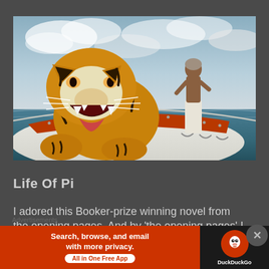[Figure (photo): Movie still from Life of Pi showing a roaring tiger in the foreground on a white lifeboat, with a young man standing at the stern in the background, ocean and cloudy sky visible.]
Life Of Pi
I adored this Booker-prize winning novel from the opening pages. And by 'the opening pages' I don't
[Figure (screenshot): Advertisement banner: DuckDuckGo ad reading 'Search, browse, and email with more privacy. All in One Free App' with the DuckDuckGo logo on a dark background on the right side.]
Advertisements